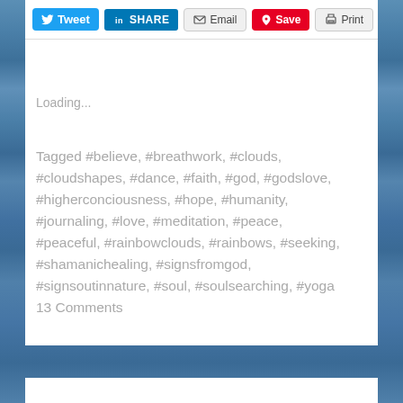Tweet | SHARE | Email | Save | Print
Loading...
Tagged #believe, #breathwork, #clouds, #cloudshapes, #dance, #faith, #god, #godslove, #higherconciousness, #hope, #humanity, #journaling, #love, #meditation, #peace, #peaceful, #rainbowclouds, #rainbows, #seeking, #shamanichealing, #signsfromgod, #signsoutinnature, #soul, #soulsearching, #yoga
13 Comments